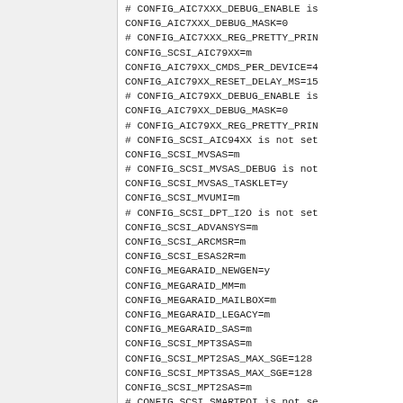# CONFIG_AIC7XXX_DEBUG_ENABLE is not set
CONFIG_AIC7XXX_DEBUG_MASK=0
# CONFIG_AIC7XXX_REG_PRETTY_PRINT is not set
CONFIG_SCSI_AIC79XX=m
CONFIG_AIC79XX_CMDS_PER_DEVICE=4
CONFIG_AIC79XX_RESET_DELAY_MS=15
# CONFIG_AIC79XX_DEBUG_ENABLE is not set
CONFIG_AIC79XX_DEBUG_MASK=0
# CONFIG_AIC79XX_REG_PRETTY_PRINT is not set
# CONFIG_SCSI_AIC94XX is not set
CONFIG_SCSI_MVSAS=m
# CONFIG_SCSI_MVSAS_DEBUG is not set
CONFIG_SCSI_MVSAS_TASKLET=y
CONFIG_SCSI_MVUMI=m
# CONFIG_SCSI_DPT_I2O is not set
CONFIG_SCSI_ADVANSYS=m
CONFIG_SCSI_ARCMSR=m
CONFIG_SCSI_ESAS2R=m
CONFIG_MEGARAID_NEWGEN=y
CONFIG_MEGARAID_MM=m
CONFIG_MEGARAID_MAILBOX=m
CONFIG_MEGARAID_LEGACY=m
CONFIG_MEGARAID_SAS=m
CONFIG_SCSI_MPT3SAS=m
CONFIG_SCSI_MPT2SAS_MAX_SGE=128
CONFIG_SCSI_MPT3SAS_MAX_SGE=128
CONFIG_SCSI_MPT2SAS=m
# CONFIG_SCSI_SMARTPQI is not set
CONFIG_SCSI_UFSHCD=m
CONFIG_SCSI_UFSHCD_PCI=m
# CONFIG_SCSI_UFS_DWC_TC_PCI is not set
# CONFIG_SCSI_UFSHCD_PLATFORM is not set